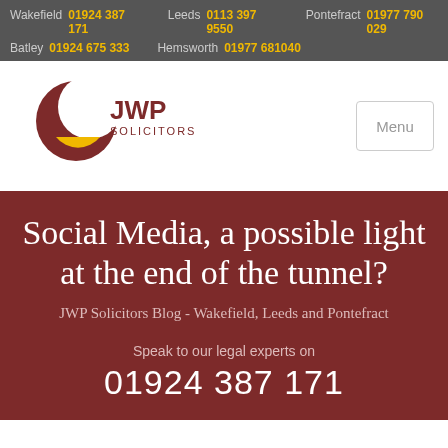Wakefield 01924 387 171  Leeds 0113 397 9550  Pontefract 01977 790 029  Batley 01924 675 333  Hemsworth 01977 681040
[Figure (logo): JWP Solicitors logo — dark red crescent moon shape with yellow half-circle, text 'JWP SOLICITORS']
Social Media, a possible light at the end of the tunnel?
JWP Solicitors Blog - Wakefield, Leeds and Pontefract
Speak to our legal experts on 01924 387 171